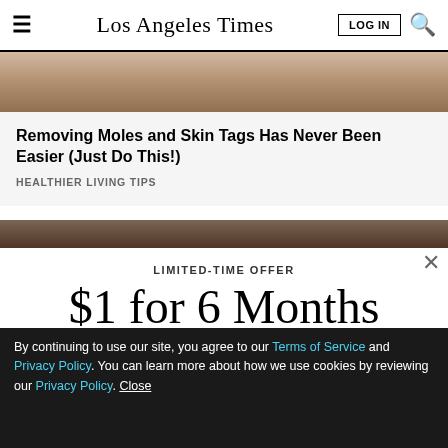Los Angeles Times
[Figure (photo): Partial view of a skin close-up photo for a mole/skin tag article]
Removing Moles and Skin Tags Has Never Been Easier (Just Do This!)
HEALTHIER LIVING TIPS
[Figure (photo): Partial view of a second article image, food-related brown tones]
LIMITED-TIME OFFER
$1 for 6 Months
SUBSCRIBE NOW
By continuing to use our site, you agree to our Terms of Service and Privacy Policy. You can learn more about how we use cookies by reviewing our Privacy Policy. Close